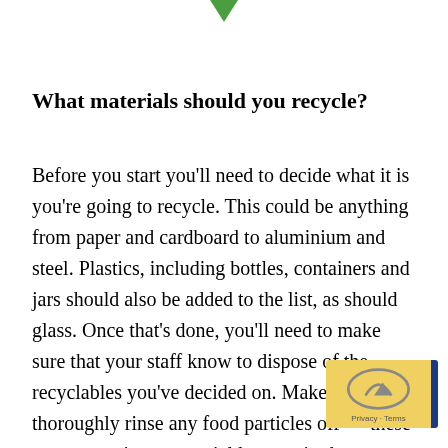[Figure (illustration): Small green downward-pointing triangle/arrow icon at top center of page]
What materials should you recycle?
Before you start you'll need to decide what it is you're going to recycle. This could be anything from paper and cardboard to aluminium and steel. Plastics, including bottles, containers and jars should also be added to the list, as should glass. Once that's done, you'll need to make sure that your staff know to dispose of the recyclables you've decided on. Make sure they thoroughly rinse any food particles off — these can contaminate material later on in the